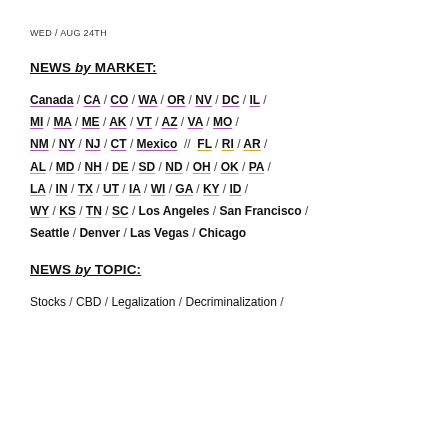WED / AUG 24TH
NEWS by MARKET:
Canada / CA / CO / WA / OR / NV / DC / IL / MI / MA / ME / AK / VT / AZ / VA / MO / NM / NY / NJ / CT / Mexico // FL / RI / AR / AL / MD / NH / DE / SD / ND / OH / OK / PA / LA / IN / TX / UT / IA / WI / GA / KY / ID / WY / KS / TN / SC / Los Angeles / San Francisco / Seattle / Denver / Las Vegas / Chicago
NEWS by TOPIC:
Stocks / CBD / Legalization / Decriminalization /